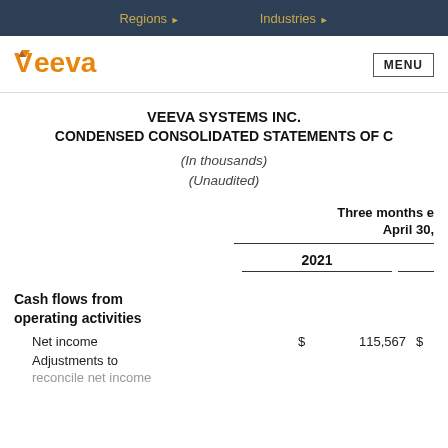Regions   Industries
[Figure (logo): Veeva Systems logo in orange]
VEEVA SYSTEMS INC.
CONDENSED CONSOLIDATED STATEMENTS OF C
(In thousands)
(Unaudited)
|  | Three months e April 30, |  |
| --- | --- | --- |
|  | 2021 |  |
| Cash flows from operating activities |  |  |
| Net income | $ 115,567 | $ |
| Adjustments to |  |  |